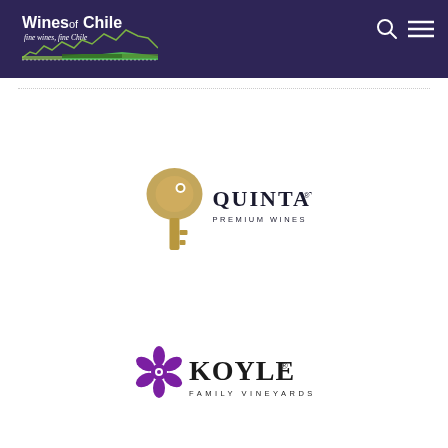[Figure (logo): Wines of Chile logo: white bold text 'Wines of Chile' with italic tagline 'fine wines, fine Chile' and mountain/vineyard graphic bar, on dark purple header background with search icon and hamburger menu icon]
[Figure (logo): Quintay Premium Wines from Chile logo: golden/bronze antique key-shaped icon on left, then 'QUINTAY' in large serif text and 'PREMIUM WINES FROM CHILE' in smaller spaced capitals below]
[Figure (logo): Koyle Family Vineyards logo: purple decorative flower/snowflake icon on left, then 'KOYLE' in large serif bold text with registered trademark symbol, and 'FAMILY VINEYARDS' in spaced capitals below]